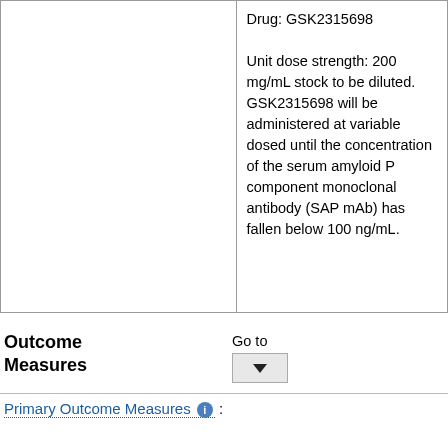|  | Drug: GSK2315698

Unit dose strength: 200 mg/mL stock to be diluted. GSK2315698 will be administered at variable dosed until the concentration of the serum amyloid P component monoclonal antibody (SAP mAb) has fallen below 100 ng/mL. |
Outcome Measures   Go to [dropdown]
Primary Outcome Measures ℹ :